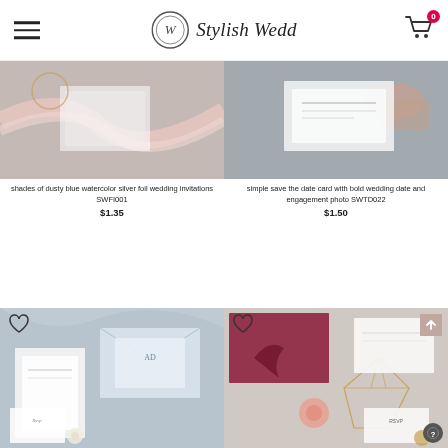Stylish Wedd
[Figure (photo): Dusty blue watercolor silver foil wedding invitation flatlay with pink ribbon]
shades of dusty blue watercolor silver foil wedding invitations SWFI001
$1.35
[Figure (photo): Hand holding a simple save the date card with bold wedding date]
simple save the date card with bold wedding date and engagement photo SWTD022
$1.50
[Figure (photo): Blue dusty wedding invitation suite flatlay with Rsvp card and envelope]
[Figure (photo): Burgundy floral wedding invitation suite with rose and geometric gold lantern]